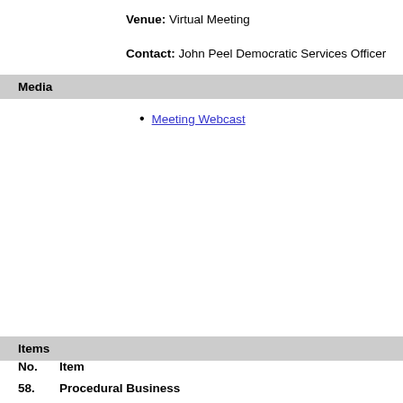Venue: Virtual Meeting
Contact: John Peel  Democratic Services Officer
Media
Meeting Webcast
Items
No.  Item
58. Procedural Business